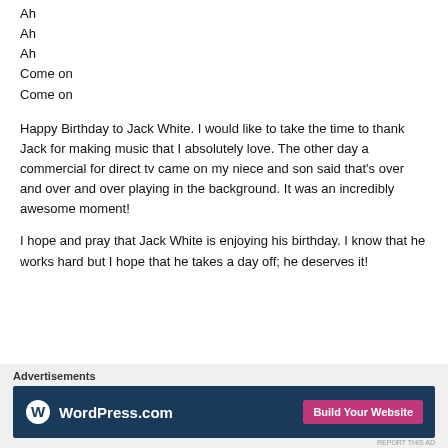Ah
Ah
Ah
Come on
Come on
Happy Birthday to Jack White. I would like to take the time to thank Jack for making music that I absolutely love. The other day a commercial for direct tv came on my niece and son said that's over and over and over playing in the background. It was an incredibly awesome moment!
I hope and pray that Jack White is enjoying his birthday. I know that he works hard but I hope that he takes a day off; he deserves it!
Advertisements
[Figure (other): WordPress.com advertisement banner with dark blue background, WordPress logo on left, and pink 'Build Your Website' button on right]